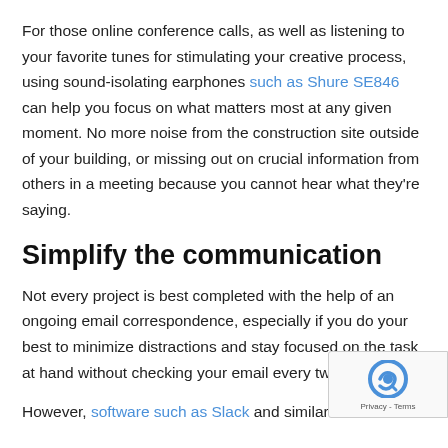For those online conference calls, as well as listening to your favorite tunes for stimulating your creative process, using sound-isolating earphones such as Shure SE846 can help you focus on what matters most at any given moment. No more noise from the construction site outside of your building, or missing out on crucial information from others in a meeting because you cannot hear what they're saying.
Simplify the communication
Not every project is best completed with the help of an ongoing email correspondence, especially if you do your best to minimize distractions and stay focused on the task at hand without checking your email every two minutes.
However, software such as Slack and similar chat tool... would limit offices to their calendaring systems to...